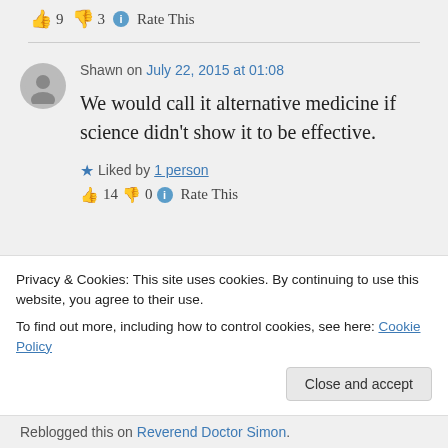👍 9 👎 3 ℹ Rate This
Shawn on July 22, 2015 at 01:08
We would call it alternative medicine if science didn't show it to be effective.
★ Liked by 1 person
👍 14 👎 0 ℹ Rate This
Privacy & Cookies: This site uses cookies. By continuing to use this website, you agree to their use.
To find out more, including how to control cookies, see here: Cookie Policy
Close and accept
Reblogged this on Reverend Doctor Simon.